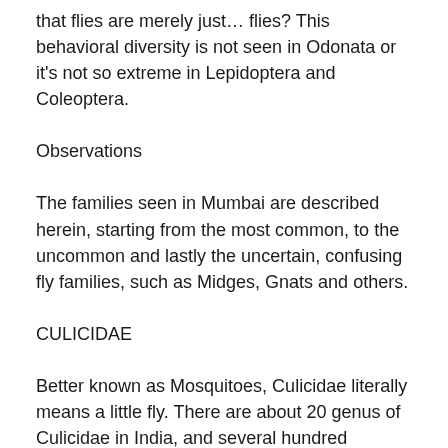that flies are merely just… flies? This behavioral diversity is not seen in Odonata or it's not so extreme in Lepidoptera and Coleoptera.
Observations
The families seen in Mumbai are described herein, starting from the most common, to the uncommon and lastly the uncertain, confusing fly families, such as Midges, Gnats and others.
CULICIDAE
Better known as Mosquitoes, Culicidae literally means a little fly. There are about 20 genus of Culicidae in India, and several hundred species. They are the most dreaded, hated and commonest flies seen. As we are aware, only the females need to feed on a protein-rich diet of blood, for nourishing the eggs. The males feed off on plant sap, and seldom visit